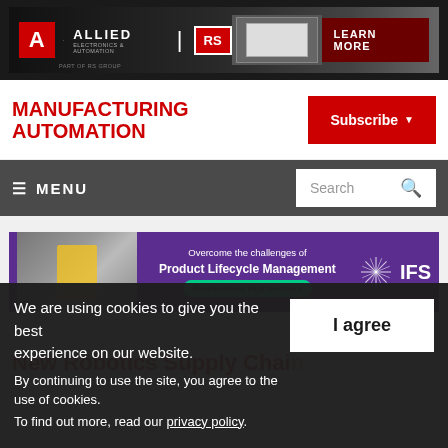[Figure (screenshot): Allied Electronics & Automation banner ad with RS logo and LEARN MORE button on dark background]
MANUFACTURING AUTOMATION
[Figure (screenshot): Subscribe button with dropdown arrow in red]
[Figure (screenshot): Navigation bar with MENU hamburger and Search box on dark grey background]
[Figure (screenshot): IFS banner ad - Overcome the challenges of Product Lifecycle Management, Download our PLM brochure]
New Robotics Supply Chain...
We are using cookies to give you the best experience on our website.
By continuing to use the site, you agree to the use of cookies.
To find out more, read our privacy policy.